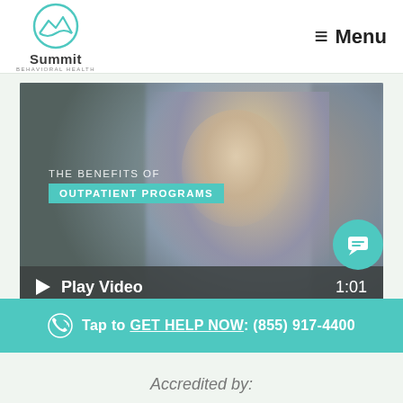[Figure (logo): Summit Behavioral Health logo with mountain/wave icon above the text]
≡ Menu
[Figure (screenshot): Video thumbnail showing a blonde woman looking upward in a blurred city scene. Text overlay reads 'THE BENEFITS OF OUTPATIENT PROGRAMS' with a teal badge, and a dark play bar at the bottom showing a play icon, 'Play Video', and duration '1:01']
Tap to GET HELP NOW: (855) 917-4400
Accredited by: